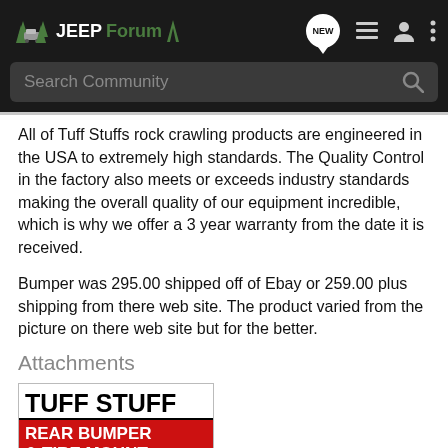JEEPForum — Search Community navigation bar
All of Tuff Stuffs rock crawling products are engineered in the USA to extremely high standards. The Quality Control in the factory also meets or exceeds industry standards making the overall quality of our equipment incredible, which is why we offer a 3 year warranty from the date it is received.
Bumper was 295.00 shipped off of Ebay or 259.00 plus shipping from there web site. The product varied from the picture on there web site but for the better.
Attachments
[Figure (photo): Tuff Stuff Rear Bumper & Tire Mount product label/advertisement image]